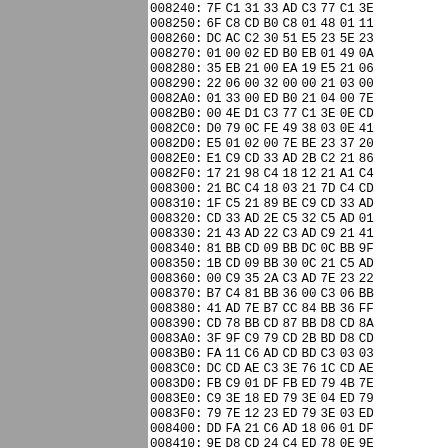[Figure (other): Gray panel on the left side of the page]
| Address | B0 | B1 | B2 | B3 | B4 | B5 | B6 | B7 | B8 |
| --- | --- | --- | --- | --- | --- | --- | --- | --- | --- |
| 008240: | 7F | C1 | 31 | 33 | AD | C3 | 77 | C1 | 3E |
| 008250: | 6F | C8 | CD | B0 | C8 | 01 | 48 | 01 | 11 |
| 008260: | DC | AC | C2 | 30 | 51 | E5 | 23 | 5E | 23 |
| 008270: | 01 | 00 | 02 | ED | B0 | EB | 01 | 49 | 0A |
| 008280: | 35 | EB | 21 | 00 | EA | 19 | E5 | 21 | 06 |
| 008290: | 22 | 06 | 00 | 32 | 00 | 00 | 21 | 03 | 00 |
| 0082A0: | 01 | 33 | 00 | ED | B0 | 21 | 04 | 00 | 7E |
| 0082B0: | 00 | 4E | D1 | C3 | 77 | C1 | 3E | 0E | CD |
| 0082C0: | D0 | 79 | 0C | FE | 49 | 38 | 03 | 0E | 41 |
| 0082D0: | E5 | 01 | 02 | 00 | 7E | BE | 23 | 37 | 20 |
| 0082E0: | E1 | C9 | CD | 33 | AD | 2B | C2 | 21 | 86 |
| 0082F0: | 17 | 21 | 98 | C4 | 18 | 12 | 21 | A1 | C4 |
| 008300: | 21 | BC | C4 | 18 | 03 | 21 | 7D | C4 | CD |
| 008310: | 1F | C5 | 21 | 89 | BE | C9 | CD | 33 | AD |
| 008320: | CD | 33 | AD | 2E | C5 | 32 | C5 | AD | 01 |
| 008330: | 21 | 43 | AD | 22 | C3 | AD | C9 | 21 | 41 |
| 008340: | 81 | BB | CD | 09 | BB | DC | 0C | BB | 9F |
| 008350: | 1B | CD | 09 | BB | 30 | 0C | 21 | C5 | AD |
| 008360: | 00 | C9 | 35 | 2A | C3 | AD | 7E | 23 | 22 |
| 008370: | B7 | C4 | 81 | BB | 36 | 00 | C3 | 06 | BB |
| 008380: | 41 | AD | 7E | B7 | CC | 84 | BB | 36 | FF |
| 008390: | CD | 78 | BB | CD | 87 | BB | D8 | CD | 8A |
| 0083A0: | 3F | 9F | C9 | 79 | CD | 2B | BD | D8 | CD |
| 0083B0: | FA | 11 | C6 | AD | CD | BD | C3 | 03 | 03 |
| 0083C0: | DC | CD | AE | C3 | 3E | 76 | 1C | CD | AE |
| 0083D0: | FB | C9 | 01 | DF | FB | ED | 79 | 4B | 7E |
| 0083E0: | C9 | 3E | 18 | ED | 79 | 3E | 04 | ED | 79 |
| 0083F0: | 79 | 7E | 12 | 23 | ED | 79 | 3E | 03 | ED |
| 008400: | DD | FA | 21 | C6 | AD | 18 | 06 | 01 | DF |
| 008410: | 9E | D8 | CD | 24 | C4 | ED | 78 | 0E | 9E |